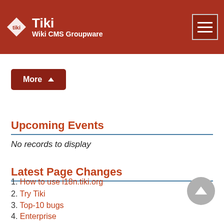Tiki Wiki CMS Groupware
More
Upcoming Events
No records to display
Latest Page Changes
1. How to use i18n.tiki.org
2. Try Tiki
3. Top-10 bugs
4. Enterprise
5. Versions